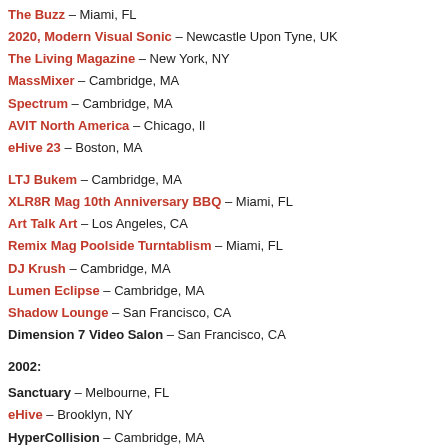The Buzz – Miami, FL
2020, Modern Visual Sonic – Newcastle Upon Tyne, UK
The Living Magazine – New York, NY
MassMixer – Cambridge, MA
Spectrum – Cambridge, MA
AVIT North America – Chicago, Il
eHive 23 – Boston, MA
LTJ Bukem – Cambridge, MA
XLR8R Mag 10th Anniversary BBQ – Miami, FL
Art Talk Art – Los Angeles, CA
Remix Mag Poolside Turntablism – Miami, FL
DJ Krush – Cambridge, MA
Lumen Eclipse – Cambridge, MA
Shadow Lounge – San Francisco, CA
Dimension 7 Video Salon – San Francisco, CA
2002:
Sanctuary – Melbourne, FL
eHive – Brooklyn, NY
HyperCollision – Cambridge, MA
One Nation – New York, NY
Purple Haze – Cambridge, MA